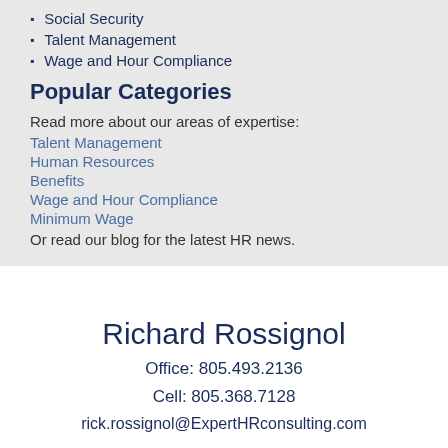Social Security
Talent Management
Wage and Hour Compliance
Popular Categories
Read more about our areas of expertise:
Talent Management
Human Resources
Benefits
Wage and Hour Compliance
Minimum Wage
Or read our blog for the latest HR news.
Richard Rossignol
Office: 805.493.2136
Cell: 805.368.7128
rick.rossignol@ExpertHRconsulting.com
[Figure (illustration): Social media icons: LinkedIn, Facebook, Twitter, Google+]